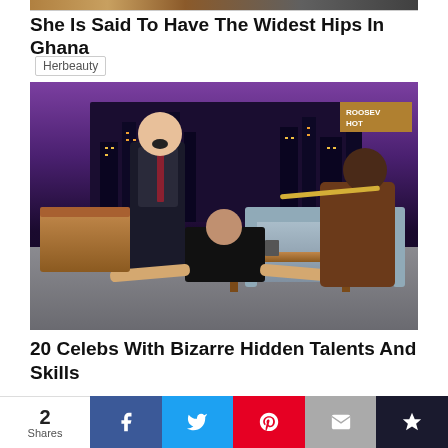[Figure (photo): Partial image at top, cropped – appears to be a person]
She Is Said To Have The Widest Hips In Ghana
Herbeauty
[Figure (photo): Talk show scene with a man in a suit reacting, a woman doing the splits on the floor, and another man seated playing a flute. Background shows a city skyline set with a Roosevelt Hotel sign visible.]
20 Celebs With Bizarre Hidden Talents And Skills
Brainberries
2 Shares